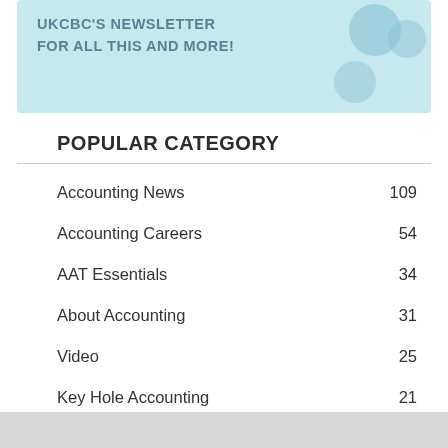[Figure (illustration): Light blue banner with bold text reading UKCBC'S NEWSLETTER FOR ALL THIS AND MORE! with decorative bubbles on the right side]
POPULAR CATEGORY
Accounting News 109
Accounting Careers 54
AAT Essentials 34
About Accounting 31
Video 25
Key Hole Accounting 21